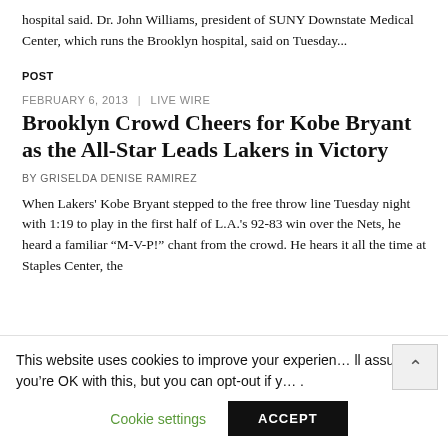hospital said. Dr. John Williams, president of SUNY Downstate Medical Center, which runs the Brooklyn hospital, said on Tuesday...
POST
FEBRUARY 6, 2013  |  LIVE WIRE
Brooklyn Crowd Cheers for Kobe Bryant as the All-Star Leads Lakers in Victory
BY GRISELDA DENISE RAMIREZ
When Lakers' Kobe Bryant stepped to the free throw line Tuesday night with 1:19 to play in the first half of L.A.'s 92-83 win over the Nets, he heard a familiar “M-V-P!” chant from the crowd. He hears it all the time at Staples Center, the
This website uses cookies to improve your experience. We'll assume you're OK with this, but you can opt-out if you wish.
Cookie settings
ACCEPT